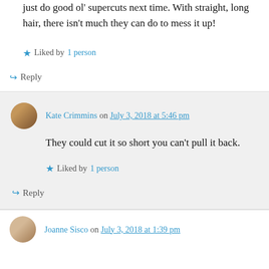just do good ol' supercuts next time. With straight, long hair, there isn't much they can do to mess it up!
Liked by 1 person
Reply
Kate Crimmins on July 3, 2018 at 5:46 pm
They could cut it so short you can't pull it back.
Liked by 1 person
Reply
Joanne Sisco on July 3, 2018 at 1:39 pm